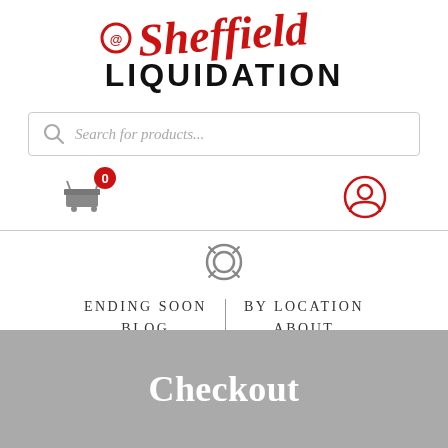[Figure (logo): Sheffield Liquidation logo — red script 'Sheffield' above bold black 'LIQUIDATION' text]
Search for products...
[Figure (infographic): Shopping cart icon with red badge showing '0' and user account circle icon]
[Figure (infographic): Help/lifesaver circle icon]
ENDING SOON
BY LOCATION
BLOG
ABOUT
Checkout